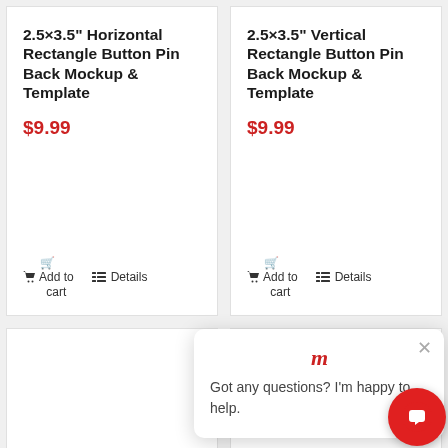2.5×3.5" Horizontal Rectangle Button Pin Back Mockup & Template
$9.99
Add to cart
Details
2.5×3.5" Vertical Rectangle Button Pin Back Mockup & Template
$9.99
Add to cart
Details
Got any questions? I'm happy to help.